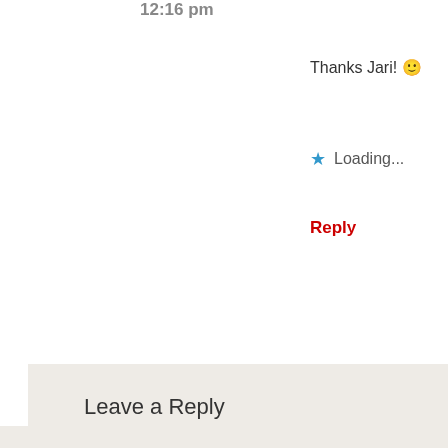12:16 pm
Thanks Jari! 🙂
★ Loading...
Reply
Leave a Reply
Enter your comment here...
This site uses Akismet to reduce spam. Learn how your comment data is processed.